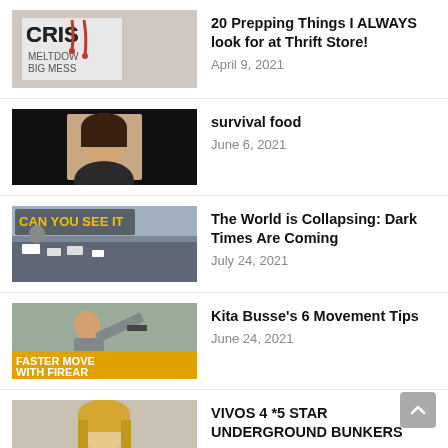20 Prepping Things I ALWAYS look for at Thrift Store! — April 9, 2021
survival food — June 6, 2021
The World is Collapsing: Dark Times Are Coming — July 24, 2021
Kita Busse's 6 Movement Tips — June 24, 2021
VIVOS 4 *5 STAR UNDERGROUND BUNKERS — February 26, 2018